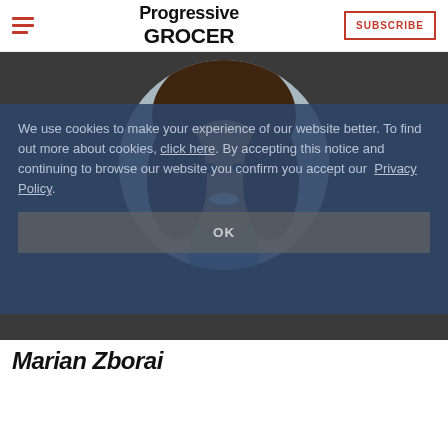Progressive GROCER | SUBSCRIBE
[Figure (photo): Profile photo of a woman with dark hair smiling, shown in a circular crop against a dark grey background. Website header for Progressive Grocer.]
We use cookies to make your experience of our website better. To find out more about cookies, click here. By accepting this notice and continuing to browse our website you confirm you accept our Privacy Policy.
OK
Marian Zboroi